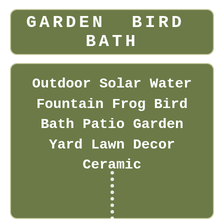GARDEN BIRD BATH
Outdoor Solar Water Fountain Frog Bird Bath Patio Garden Yard Lawn Decor Ceramic